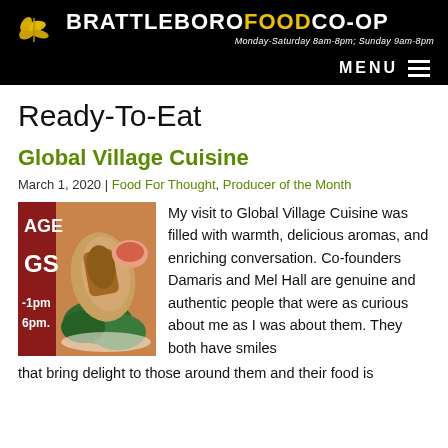BRATTLEBORO FOOD CO-OP — Monday-Saturday 8am-8pm; Sunday 9am-8pm
Ready-To-Eat
Global Village Cuisine
March 1, 2020 | Food For Thought, Producer of the Month
[Figure (photo): Photo of a food wrap/burrito with kale on a plate next to a dipping sauce, overlaid on a red background with partial text 'AGE', 'GS', '-1pm', '6pm.']
My visit to Global Village Cuisine was filled with warmth, delicious aromas, and enriching conversation. Co-founders Damaris and Mel Hall are genuine and authentic people that were as curious about me as I was about them. They both have smiles that bring delight to those around them and their food is